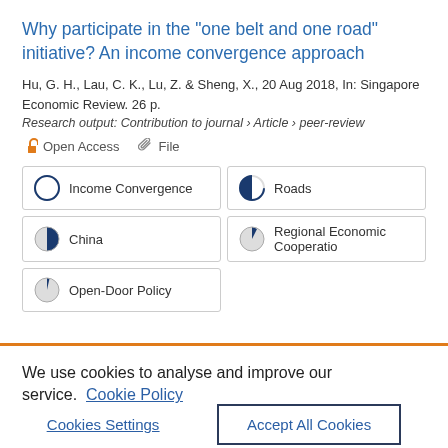Why participate in the "one belt and one road" initiative? An income convergence approach
Hu, G. H., Lau, C. K., Lu, Z. & Sheng, X., 20 Aug 2018, In: Singapore Economic Review. 26 p.
Research output: Contribution to journal › Article › peer-review
Open Access   File
Income Convergence | Roads | China | Regional Economic Cooperatio | Open-Door Policy
We use cookies to analyse and improve our service. Cookie Policy
Cookies Settings
Accept All Cookies